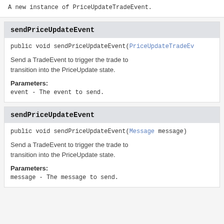A new instance of PriceUpdateTradeEvent.
sendPriceUpdateEvent
public void sendPriceUpdateEvent(PriceUpdateTradeEv
Send a TradeEvent to trigger the trade to transition into the PriceUpdate state.
Parameters:
event - The event to send.
sendPriceUpdateEvent
public void sendPriceUpdateEvent(Message message)
Send a TradeEvent to trigger the trade to transition into the PriceUpdate state.
Parameters:
message - The message to send.